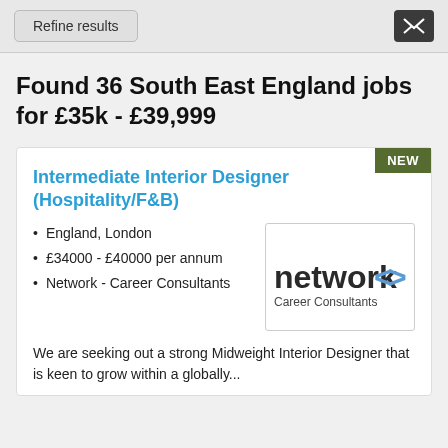Refine results
Found 36 South East England jobs for £35k - £39,999
Intermediate Interior Designer (Hospitality/F&B)
England, London
£34000 - £40000 per annum
Network - Career Consultants
[Figure (logo): Network Career Consultants logo with bold text and chevron arrows]
We are seeking out a strong Midweight Interior Designer that is keen to grow within a globally...